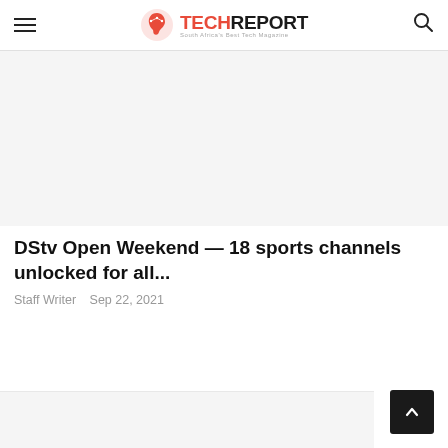TechReport — South Africa's Best Tech Magazine
[Figure (photo): Article hero image placeholder (light gray background)]
DStv Open Weekend — 18 sports channels unlocked for all...
Staff Writer   Sep 22, 2021
[Figure (photo): Second article image placeholder (light gray background, partial)]